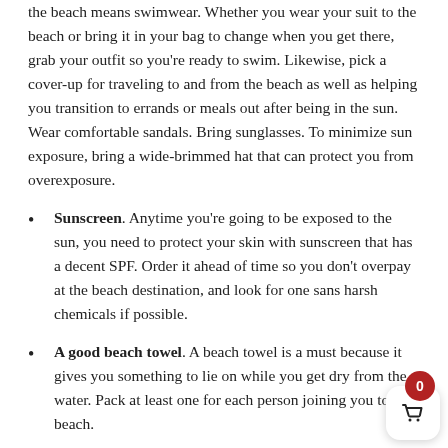the beach means swimwear. Whether you wear your suit to the beach or bring it in your bag to change when you get there, grab your outfit so you're ready to swim. Likewise, pick a cover-up for traveling to and from the beach as well as helping you transition to errands or meals out after being in the sun. Wear comfortable sandals. Bring sunglasses. To minimize sun exposure, bring a wide-brimmed hat that can protect you from overexposure.
Sunscreen. Anytime you're going to be exposed to the sun, you need to protect your skin with sunscreen that has a decent SPF. Order it ahead of time so you don't overpay at the beach destination, and look for one sans harsh chemicals if possible.
A good beach towel. A beach towel is a must because it gives you something to lie on while you get dry from the water. Pack at least one for each person joining you to the beach.
Beach chairs. While you can lie directly on your towel in the sand, having beach chairs adds a layer of comfort to